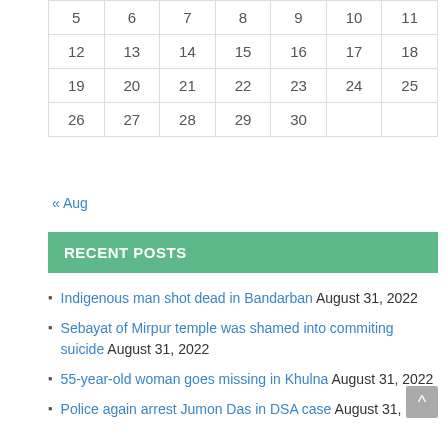| 5 | 6 | 7 | 8 | 9 | 10 | 11 |
| 12 | 13 | 14 | 15 | 16 | 17 | 18 |
| 19 | 20 | 21 | 22 | 23 | 24 | 25 |
| 26 | 27 | 28 | 29 | 30 |  |  |
« Aug
RECENT POSTS
Indigenous man shot dead in Bandarban August 31, 2022
Sebayat of Mirpur temple was shamed into commiting suicide August 31, 2022
55-year-old woman goes missing in Khulna August 31, 2022
Police again arrest Jumon Das in DSA case August 31, 2022